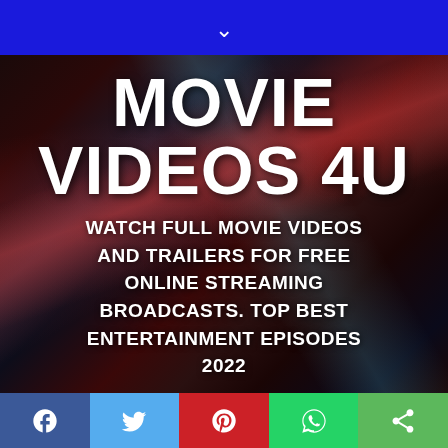▾
[Figure (photo): Dark cinematic background with colorful light streaks (red, teal) suggesting a concert or entertainment venue at night]
MOVIE VIDEOS 4U
WATCH FULL MOVIE VIDEOS AND TRAILERS FOR FREE ONLINE STREAMING BROADCASTS. TOP BEST ENTERTAINMENT EPISODES 2022
Social share buttons: Facebook, Twitter, Pinterest, WhatsApp, Share